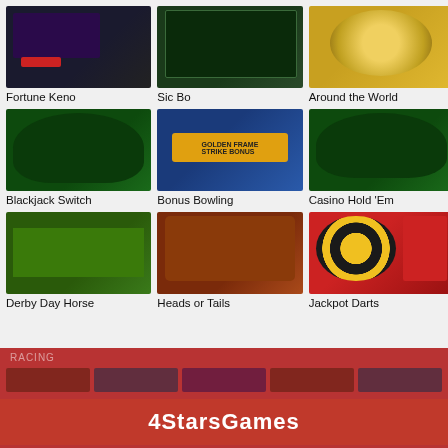[Figure (screenshot): Fortune Keno game thumbnail]
Fortune Keno
[Figure (screenshot): Sic Bo game thumbnail]
Sic Bo
[Figure (screenshot): Around the World game thumbnail]
Around the World
[Figure (screenshot): Blackjack Switch game thumbnail]
Blackjack Switch
[Figure (screenshot): Bonus Bowling game thumbnail]
Bonus Bowling
[Figure (screenshot): Casino Hold 'Em game thumbnail]
Casino Hold 'Em
[Figure (screenshot): Derby Day Horse game thumbnail]
Derby Day Horse
[Figure (screenshot): Heads or Tails game thumbnail]
Heads or Tails
[Figure (screenshot): Jackpot Darts game thumbnail]
Jackpot Darts
4StarsGames